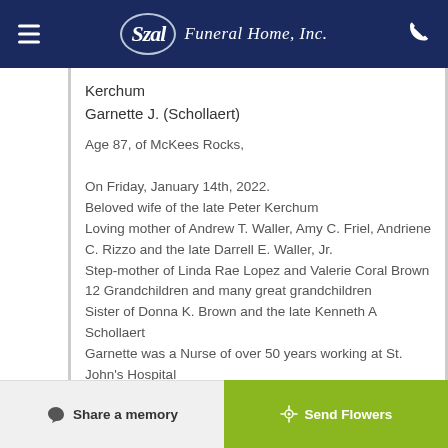Szal Funeral Home, Inc.
Kerchum
Garnette J. (Schollaert)
Age 87, of McKees Rocks,

On Friday, January 14th, 2022.
Beloved wife of the late Peter Kerchum
Loving mother of Andrew T. Waller, Amy C. Friel, Andriene C. Rizzo and the late Darrell E. Waller, Jr.
Step-mother of Linda Rae Lopez and Valerie Coral Brown
12 Grandchildren and many great grandchildren
Sister of Donna K. Brown and the late Kenneth A Schollaert
Garnette was a Nurse of over 50 years working at St. John's Hospital
Family and friends are welcome Tuesday, January 18th, 2022, 2:00 pm-8:00 pm.
Share a memory   Send Flowers